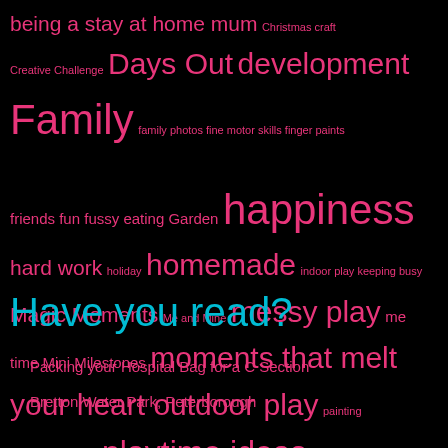[Figure (infographic): A tag cloud on a black background with pink/magenta text of varying sizes, followed by a 'Have you read?' section in cyan with pink list items.]
Have you read?
Packing your Hospital Bag for a C Section
Bretton Water Park, Peterborough